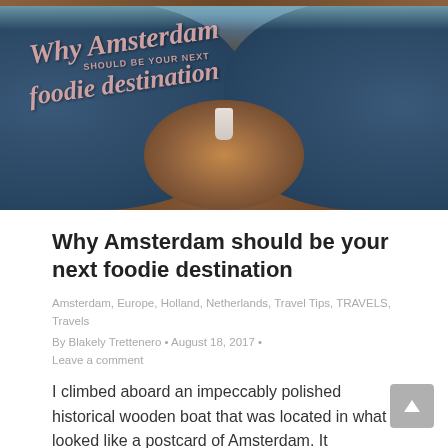[Figure (photo): Interior of a historic wooden boat with blue tufted seating, a round wooden table with a flower vase, and a woman sitting with a wine glass. Overlaid text reads 'Why Amsterdam SHOULD BE YOUR NEXT foodie destination']
Why Amsterdam should be your next foodie destination
Amsterdam, Europe, Holland, Netherlands, Travel Tips, TRAVELS, Travels
By Blakely Trettenero • August 18, 2017 •
Leave a comment
I climbed aboard an impeccably polished historical wooden boat that was located in what looked like a postcard of Amsterdam. It